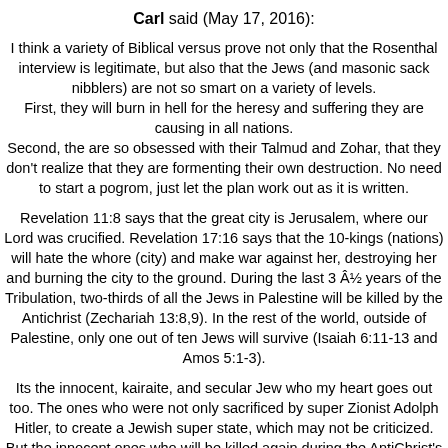Carl said (May 17, 2016):
I think a variety of Biblical versus prove not only that the Rosenthal interview is legitimate, but also that the Jews (and masonic sack nibblers) are not so smart on a variety of levels. First, they will burn in hell for the heresy and suffering they are causing in all nations. Second, the are so obsessed with their Talmud and Zohar, that they don't realize that they are formenting their own destruction. No need to start a pogrom, just let the plan work out as it is written.
Revelation 11:8 says that the great city is Jerusalem, where our Lord was crucified. Revelation 17:16 says that the 10-kings (nations) will hate the whore (city) and make war against her, destroying her and burning the city to the ground. During the last 3 Â½ years of the Tribulation, two-thirds of all the Jews in Palestine will be killed by the Antichrist (Zechariah 13:8,9). In the rest of the world, outside of Palestine, only one out of ten Jews will survive (Isaiah 6:11-13 and Amos 5:1-3).
Its the innocent, kairaite, and secular Jew who my heart goes out too. The ones who were not only sacrificed by super Zionist Adolph Hitler, to create a Jewish super state, which may not be criticized. But the innocent ones who will be killed again during the AntiChrist's rebellion against Jews. This is what the white supremicist doesn't realize. That some innocence exists in all races. There are Jews who dont even know what the talmud is!